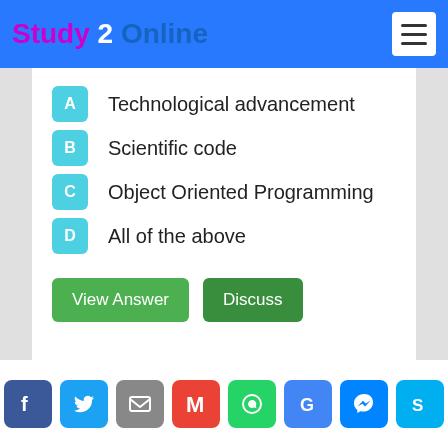Study 2 Online
A  Technological advancement
B  Scientific code
C  Object Oriented Programming
D  All of the above
View Answer   Discuss
Social share icons: Facebook, Twitter, Email, Gmail, WhatsApp, Google, Messenger, Skype